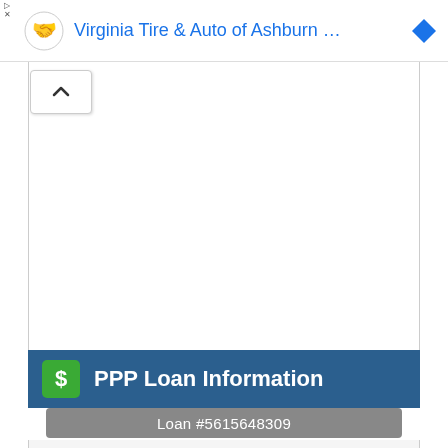Virginia Tire & Auto of Ashburn …
PPP Loan Information
Loan #5615648309
Loan Size:
$3.48M
Jobs Retained:
274
Loan Approved:
Loan Status: